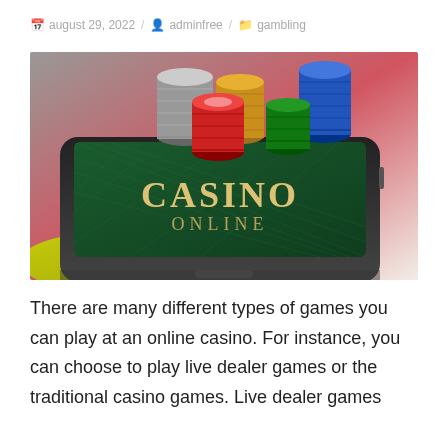august 29, 2022 / adminfree / gambling
[Figure (photo): A smartphone with 'CASINO ONLINE' displayed on its screen, surrounded by stacks of casino chips in various colors (silver, gold, red, blue, green), placed on a colorful background.]
There are many different types of games you can play at an online casino. For instance, you can choose to play live dealer games or the traditional casino games. Live dealer games